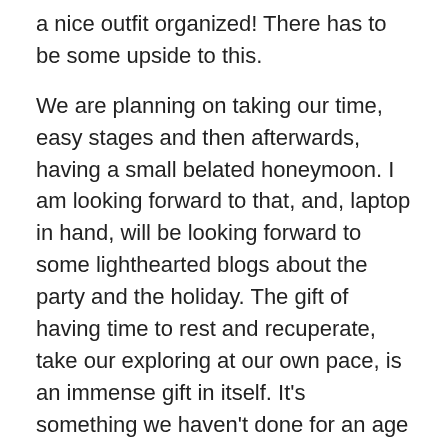a nice outfit organized! There has to be some upside to this.
We are planning on taking our time, easy stages and then afterwards, having a small belated honeymoon. I am looking forward to that, and, laptop in hand, will be looking forward to some lighthearted blogs about the party and the holiday. The gift of having time to rest and recuperate, take our exploring at our own pace, is an immense gift in itself. It's something we haven't done for an age and I feel the need to simply 'be'. I know my friend will understand that only too well. As my grandmother would have said, “It will be grand”. It certainly will!
[Figure (photo): Broken image placeholder labeled 'Kiama']
image besthoneymoonideas.org
“In the summer of 2018 I think I was the luckiest...